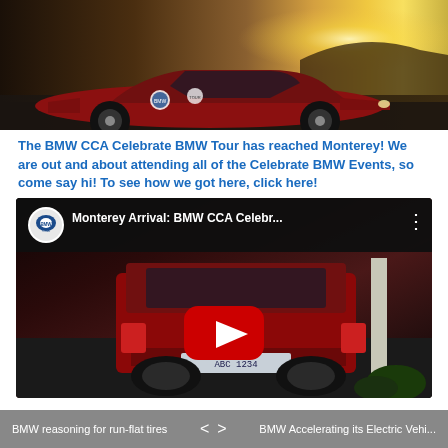[Figure (photo): Red BMW convertible car with logos on the side, photographed in golden sunlight against a hillside background. The car appears to be part of the BMW CCA Celebrate BMW Tour.]
The BMW CCA Celebrate BMW Tour has reached Monterey! We are out and about attending all of the Celebrate BMW Events, so come say hi! To see how we got here, click here!
[Figure (screenshot): YouTube video embed showing 'Monterey Arrival: BMW CCA Celebr...' with BMW CCA logo, a red BMW wagon viewed from the rear, and a YouTube play button overlay.]
BMW reasoning for run-flat tires   <   >   BMW Accelerating its Electric Vehi...